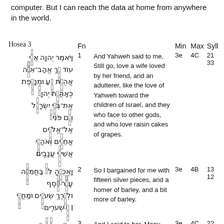computer. But I can reach the data at home from anywhere in the world.
| Hosea 3 | Fn |  | Min | Max | Syll |
| --- | --- | --- | --- | --- | --- |
| [Hebrew v.1] | 1 | And Yahweh said to me, Still go, love a wife loved by her friend, and an adulterer, like the love of Yahweh toward the children of Israel, and they who face to other gods, and who love raisin cakes of grapes. | 3e | 4C | 21 / 33 |
| [Hebrew v.2] | 2 | So I bargained for me with fifteen silver pieces, and a homer of barley, and a bit more of barley. | 3e | 4B | 13 / 12 |
| [Hebrew v.3] | 3 | And I said to her, Many | 3e | 4C | 22 |